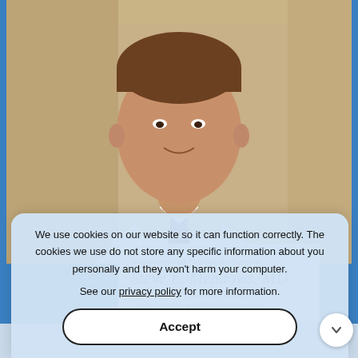[Figure (photo): Portrait photo of Dr. Steve E. Meadows, MD, wearing a white lab coat and purple patterned tie, smiling, in a medical office setting]
Board-certified Orthopedic Surgeon
Steve E. Meadows, MD
ADVANCED FELLOWSHIP TRAINED IN HAND & UPPER EXTREMITY SURGEON
We use cookies on our website so it can function correctly. The cookies we use do not store any specific information about you personally and they won't harm your computer.
See our privacy policy for more information.
Accept